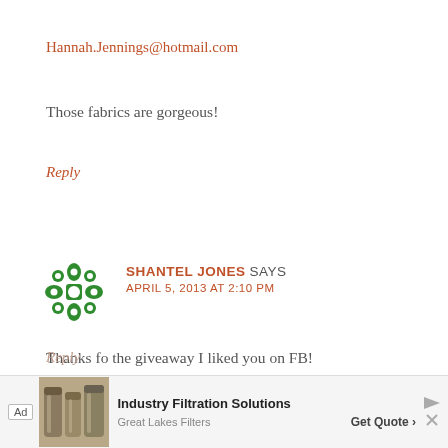Hannah.Jennings@hotmail.com
Those fabrics are gorgeous!
Reply
[Figure (illustration): Green decorative avatar/icon with geometric flower pattern]
SHANTEL JONES SAYS
APRIL 5, 2013 AT 2:10 PM
Thanks fo the giveaway I liked you on FB!
shantelhjones at gmail dot com
Reply
[Figure (screenshot): Ad banner: Industry Filtration Solutions - Great Lakes Filters - Get Quote]